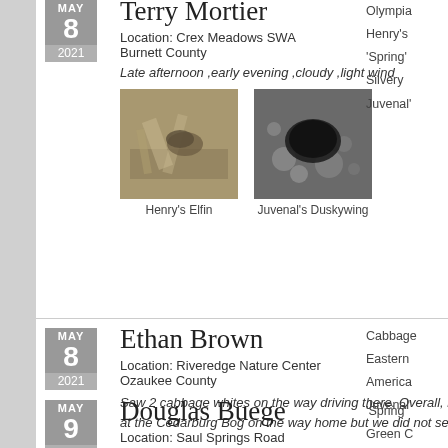Terry Mortier
Location: Crex Meadows SWA
Burnett County
Late afternoon ,early evening ,cloudy ,light wind
[Figure (photo): Henry's Elfin butterfly on dried grass/twigs]
Henry's Elfin
[Figure (photo): Juvenal's Duskywing butterfly on rocky ground]
Juvenal's Duskywing
Ethan Brown
Location: Riveredge Nature Center
Ozaukee County
Saw 2 cabbage whites on the way driving there. Overall, kind of a cool day. Only about 52 degrees. We stopped at the Cedarburg Bog on the way home but we did not see anything.
Douglas Buege
Location: Saul Springs Road
Oconto County